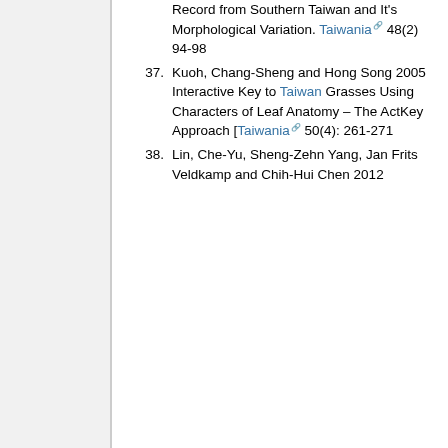Record from Southern Taiwan and It's Morphological Variation. Taiwania 48(2) 94-98
37. Kuoh, Chang-Sheng and Hong Song 2005 Interactive Key to Taiwan Grasses Using Characters of Leaf Anatomy – The ActKey Approach [Taiwania 50(4): 261-271
38. Lin, Che-Yu, Sheng-Zehn Yang, Jan Frits Veldkamp and Chih-Hui Chen 2012